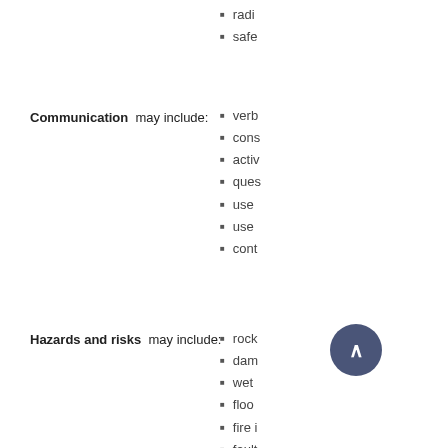radi…
safe…
Communication  may include:
verb…
cons…
activ…
ques…
use …
use …
cont…
Hazards and risks  may include:
rock…
dam…
wet …
floo…
fire i…
fault…
eak…
ault…
anim…
wind…
stee…
oil o…
park…
ped…